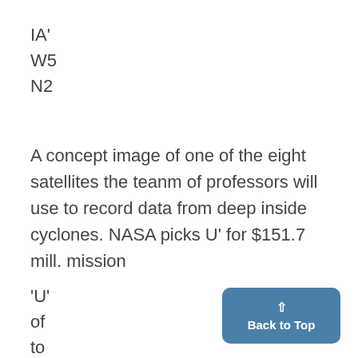IA'
W5
N2
A concept image of one of the eight satellites the teanm of professors will use to record data from deep inside cyclones. NASA picks U' for $151.7 mill. mission
'U'
of
to